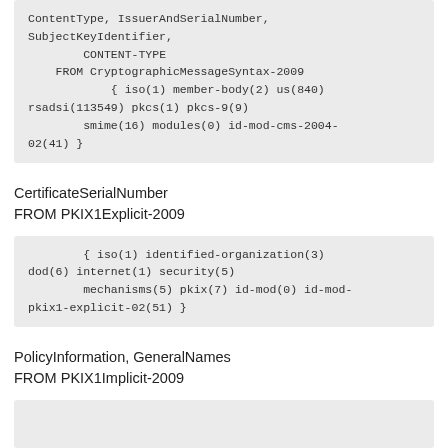ContentType, IssuerAndSerialNumber,
SubjectKeyIdentifier,
        CONTENT-TYPE
    FROM CryptographicMessageSyntax-2009
            { iso(1) member-body(2) us(840)
 rsadsi(113549) pkcs(1) pkcs-9(9)
        smime(16) modules(0) id-mod-cms-2004-02(41) }
CertificateSerialNumber
FROM PKIX1Explicit-2009
{ iso(1) identified-organization(3) dod(6) internet(1) security(5)
        mechanisms(5) pkix(7) id-mod(0) id-mod-pkix1-explicit-02(51) }
PolicyInformation, GeneralNames
FROM PKIX1Implicit-2009